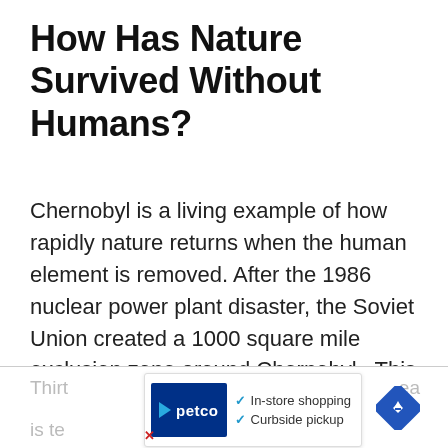How Has Nature Survived Without Humans?
Chernobyl is a living example of how rapidly nature returns when the human element is removed. After the 1986 nuclear power plant disaster, the Soviet Union created a 1000 square mile exclusion zone around Chernobyl.  This area is restricted to everyone except some scientists and government officials
[Figure (other): Petco advertisement banner at the bottom of the page showing Petco logo with play button, checkmarks for 'In-store shopping' and 'Curbside pickup', and a blue navigation/directional diamond icon on the right. Partially obscured text visible underneath.]